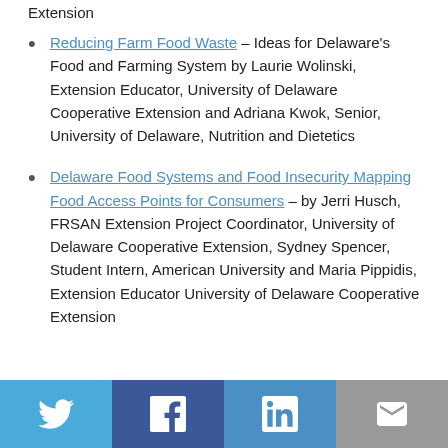Extension
Reducing Farm Food Waste – Ideas for Delaware's Food and Farming System by Laurie Wolinski, Extension Educator, University of Delaware Cooperative Extension and Adriana Kwok, Senior, University of Delaware, Nutrition and Dietetics
Delaware Food Systems and Food Insecurity Mapping Food Access Points for Consumers – by Jerri Husch, FRSAN Extension Project Coordinator, University of Delaware Cooperative Extension, Sydney Spencer, Student Intern, American University and Maria Pippidis, Extension Educator University of Delaware Cooperative Extension
[Figure (infographic): Social media share buttons: Twitter (blue), Facebook (dark blue), LinkedIn (blue), Email (grey)]